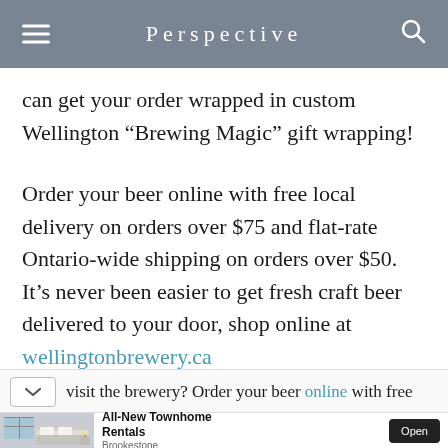Perspective
can get your order wrapped in custom Wellington “Brewing Magic” gift wrapping!
Order your beer online with free local delivery on orders over $75 and flat-rate Ontario-wide shipping on orders over $50. It’s never been easier to get fresh craft beer delivered to your door, shop online at wellingtonbrewery.ca
visit the brewery? Order your beer online with free
[Figure (photo): Advertisement banner showing a bedroom interior with text 'All-New Townhome Rentals' and 'Brookestone' with an Open button]